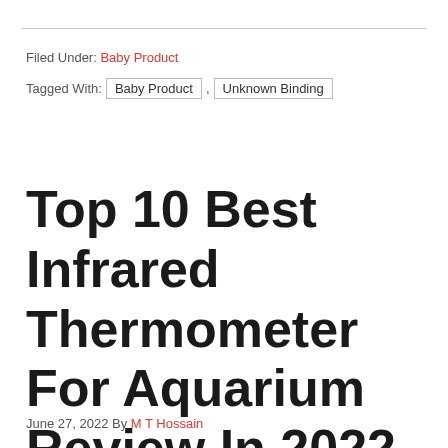Filed Under: Baby Product
Tagged With: Baby Product , Unknown Binding
Top 10 Best Infrared Thermometer For Aquarium Review In 2022
June 27, 2022 By M T Hossain